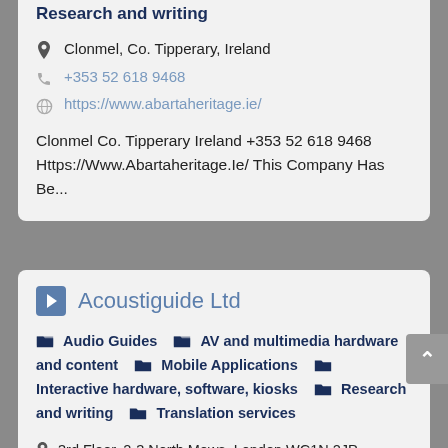Research and writing
Clonmel, Co. Tipperary, Ireland
+353 52 618 9468
https://www.abartaheritage.ie/
Clonmel Co. Tipperary Ireland +353 52 618 9468 Https://Www.Abartaheritage.Ie/ This Company Has Be...
Acoustiguide Ltd
Audio Guides
AV and multimedia hardware and content
Mobile Applications
Interactive hardware, software, kiosks
Research and writing
Translation services
3rd Floor, 2-3 North Mews, London WC1N 2JP,